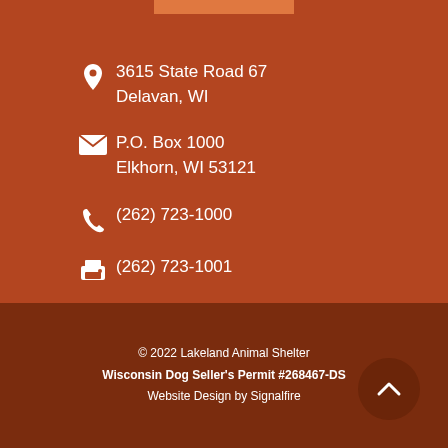3615 State Road 67
Delavan, WI
P.O. Box 1000
Elkhorn, WI 53121
(262) 723-1000
(262) 723-1001
Mon - Fri: 12PM - 5PM
Sat: 11AM - 4PM
© 2022 Lakeland Animal Shelter
Wisconsin Dog Seller's Permit #268467-DS
Website Design by Signalfire